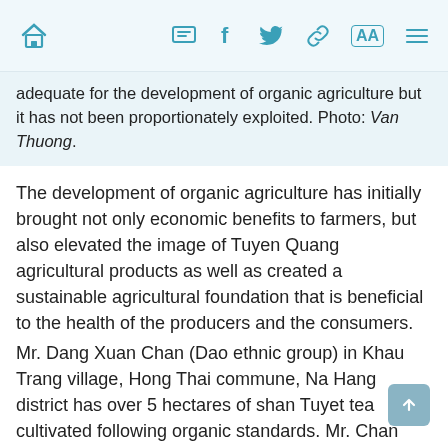Home, Message, Facebook, Twitter, Link, AA, Menu icons
adequate for the development of organic agriculture but it has not been proportionately exploited. Photo: Van Thuong.
The development of organic agriculture has initially brought not only economic benefits to farmers, but also elevated the image of Tuyen Quang agricultural products as well as created a sustainable agricultural foundation that is beneficial to the health of the producers and the consumers.
Mr. Dang Xuan Chan (Dao ethnic group) in Khau Trang village, Hong Thai commune, Na Hang district has over 5 hectares of shan Tuyet tea cultivated following organic standards. Mr. Chan said that the most significant advantage of the local tea forests is that farmers have cultivated completely naturally in the